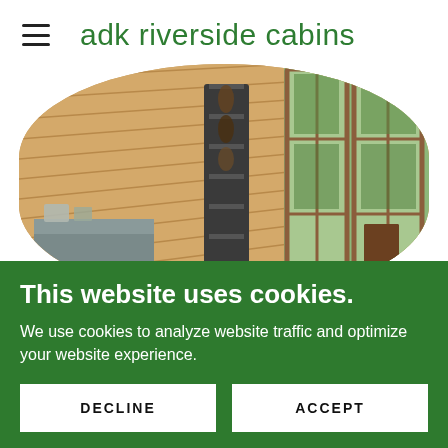adk riverside cabins
[Figure (photo): Interior of a wooden cabin showing angled pine wood paneled walls and ceiling, large multi-pane windows looking out to green trees, a metal wine rack stand in the center, dark wooden chairs on the right, and a small sideboard with items on the left.]
This website uses cookies.
We use cookies to analyze website traffic and optimize your website experience.
DECLINE
ACCEPT